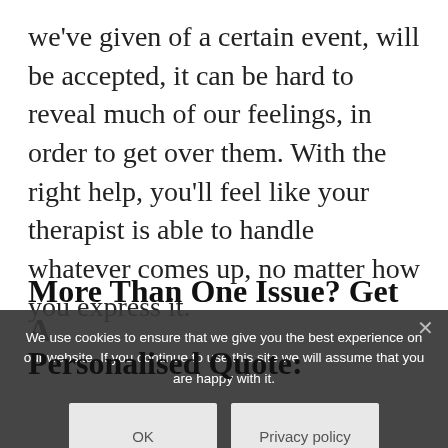we've given of a certain event, will be accepted, it can be hard to reveal much of our feelings, in order to get over them. With the right help, you'll feel like your therapist is able to handle whatever comes up, no matter how you express it.
More Than One Issue? Get A Personalised Quote:
We use cookies to ensure that we give you the best experience on our website. If you continue to use this site we will assume that you are happy with it.